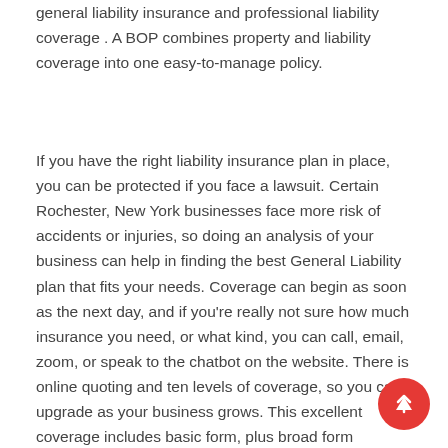general liability insurance and professional liability coverage . A BOP combines property and liability coverage into one easy-to-manage policy.
If you have the right liability insurance plan in place, you can be protected if you face a lawsuit. Certain Rochester, New York businesses face more risk of accidents or injuries, so doing an analysis of your business can help in finding the best General Liability plan that fits your needs. Coverage can begin as soon as the next day, and if you're really not sure how much insurance you need, or what kind, you can call, email, zoom, or speak to the chatbot on the website. There is online quoting and ten levels of coverage, so you can upgrade as your business grows. This excellent coverage includes basic form, plus broad form coverage . In addition, this form covers any other loss, unless the peril is specifically excluded, such as flood, earthquake, war, nuclear accident, etc